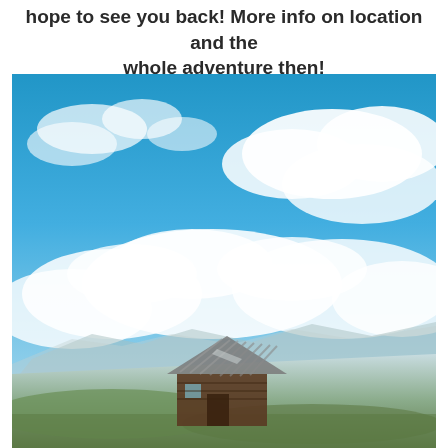hope to see you back! More info on location and the whole adventure then!
[Figure (photo): Outdoor mountain landscape photo with a bright blue sky filled with white clouds occupying the upper two-thirds. In the lower portion, a small rustic wooden/metal-roofed shelter or hut sits on a green hillside, with mountains visible in the misty background.]